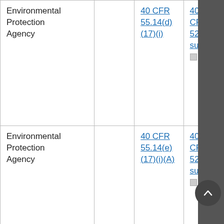| Agency |  | CFR Citation 1 | CFR Citation 2 |
| --- | --- | --- | --- |
| Environmental Protection Agency |  | 40 CFR 55.14(d)(17)(i) | 40 CFR 52, subpa... |
| Environmental Protection Agency |  | 40 CFR 55.14(e)(17)(i)(A) | 40 CFR 52, subpa... |
| Environmental Protection Agency |  | 40 CFR 55.14(e)(6) | 40 CFR 52,... |